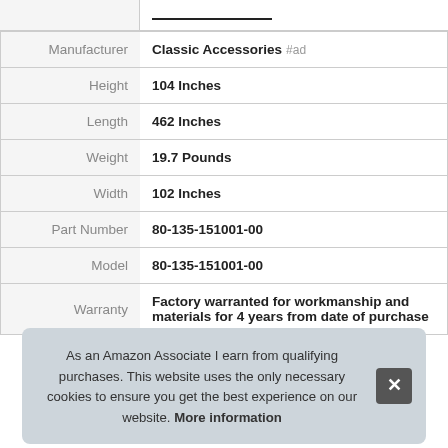| Attribute | Value |
| --- | --- |
| Manufacturer | Classic Accessories #ad |
| Height | 104 Inches |
| Length | 462 Inches |
| Weight | 19.7 Pounds |
| Width | 102 Inches |
| Part Number | 80-135-151001-00 |
| Model | 80-135-151001-00 |
| Warranty | Factory warranted for workmanship and materials for 4 years from date of purchase |
As an Amazon Associate I earn from qualifying purchases. This website uses the only necessary cookies to ensure you get the best experience on our website. More information